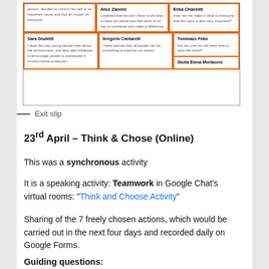[Figure (screenshot): Screenshot of an exit slip showing student responses in a grid layout with orange borders. Students listed include Alice Zannini, Erika Chiariotti, Sara Giulietti, Gregorio Cantarelli, Tommaso Febo, Giulia Elena Mortaconi. Each cell contains a student name and their written response about environmental topics.]
— Exit slip
23rd April – Think & Chose (Online)
This was a synchronous activity
It is a speaking activity: Teamwork in Google Chat's virtual rooms: "Think and Choose Activity"
Sharing of the 7 freely chosen actions, which would be carried out in the next four days and recorded daily on Google Forms.
Guiding questions: